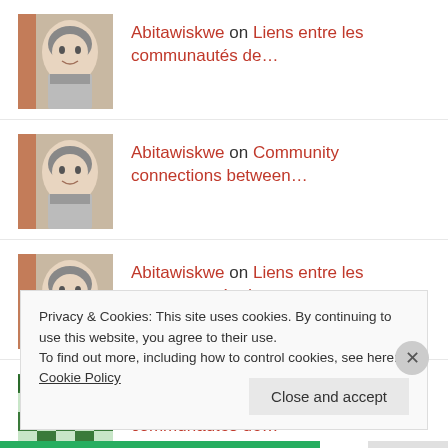Abitawiskwe on Liens entre les communautés de...
Abitawiskwe on Community connections between...
Abitawiskwe on Liens entre les communautés de...
Carole on Liens entre les communautés de...
Privacy & Cookies: This site uses cookies. By continuing to use this website, you agree to their use.
To find out more, including how to control cookies, see here: Cookie Policy
Close and accept